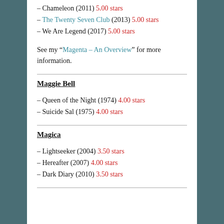– Chameleon (2011) 5.00 stars
– The Twenty Seven Club (2013) 5.00 stars
– We Are Legend (2017) 5.00 stars
See my “Magenta – An Overview” for more information.
Maggie Bell
– Queen of the Night (1974) 4.00 stars
– Suicide Sal (1975) 4.00 stars
Magica
– Lightseeker (2004) 3.50 stars
– Hereafter (2007) 4.00 stars
– Dark Diary (2010) 3.50 stars